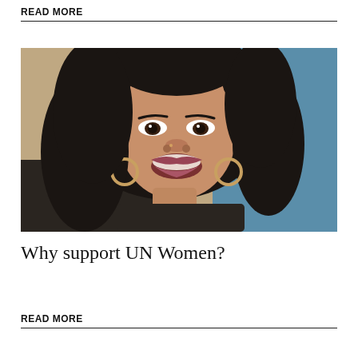READ MORE
[Figure (photo): Close-up portrait of a smiling young woman with long dark wavy hair wearing hoop earrings, photographed against a beige/blue background]
Why support UN Women?
READ MORE